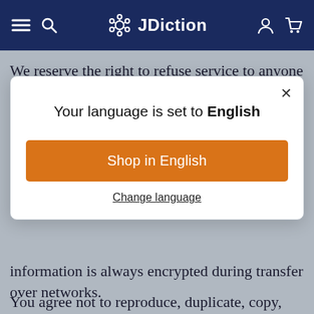JDiction
We reserve the right to refuse service to anyone
[Figure (screenshot): Modal dialog with title 'Your language is set to English', an orange 'Shop in English' button, and a 'Change language' link. Close button (×) in top right corner.]
information is always encrypted during transfer over networks.
You agree not to reproduce, duplicate, copy, sell,